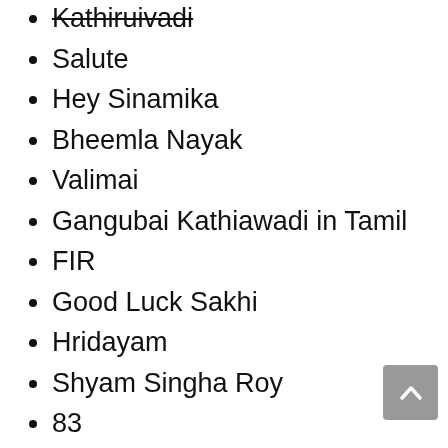Kathiruivadi
Salute
Hey Sinamika
Bheemla Nayak
Valimai
Gangubai Kathiawadi in Tamil
FIR
Good Luck Sakhi
Hridayam
Shyam Singha Roy
83
Minnal Murali (Netflix)
Atrangi Re (Disney+ Hotstar)
Pushpa
Spider-Man No Way Home Hindi Dubbed
Money Heist Season 5 Part 2 (All